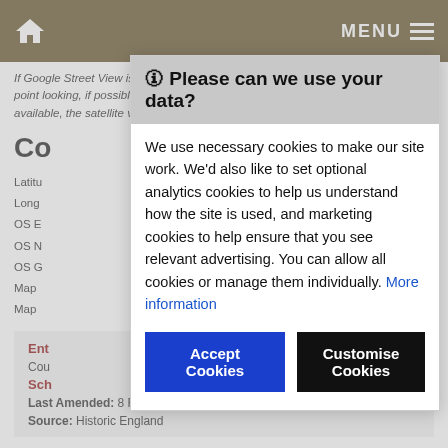Home | MENU
If Google Street View is available, the image is from the best available vantage point looking, if possible, towards the location of the monument. Where it is not available, the satellite view is shown instead.
Co
Latitu
Long
OS E
OS N
OS G
Map
Map
Ent
Cou
Sch
Last Amended: 8 February 1994
Source: Historic England
🛈 Please can we use your data?

We use necessary cookies to make our site work. We'd also like to set optional analytics cookies to help us understand how the site is used, and marketing cookies to help ensure that you see relevant advertising. You can allow all cookies or manage them individually. More information

[Accept Cookies] [Customise Cookies]